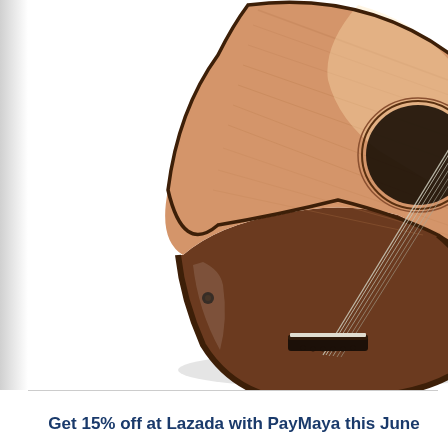[Figure (photo): Close-up photo of an acoustic guitar body showing the wooden top (cedar/spruce) and sides (rosewood/mahogany), the bridge with strings, sound hole partially visible at upper right, and an end pin on the lower bout. White background. The left edge of the image has a faint grey shadow strip.]
Get 15% off at Lazada with PayMaya this June